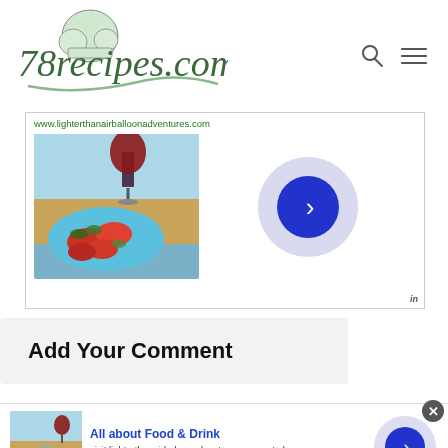[Figure (logo): 78recipes.com logo with chef hat graphic and cursive text, green color scheme]
[Figure (screenshot): Advertisement banner showing food photo (bruschetta/tomatoes with wine glass on beach) and play button circle, with URL www.lighterthanairballoonadventures.com]
Add Your Comment
[Figure (screenshot): Infolinks ad bar at bottom with 'All about Food & Drink' ad showing food photo, description text, play button, and close button]